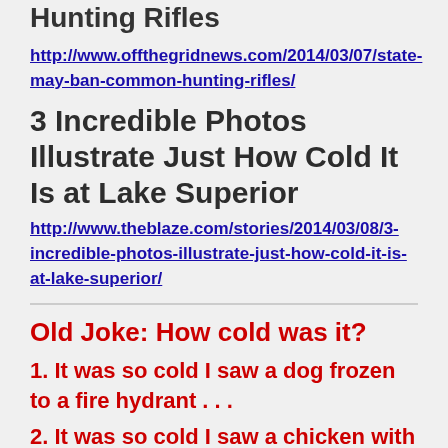Hunting Rifles
http://www.offthegridnews.com/2014/03/07/state-may-ban-common-hunting-rifles/
3 Incredible Photos Illustrate Just How Cold It Is at Lake Superior
http://www.theblaze.com/stories/2014/03/08/3-incredible-photos-illustrate-just-how-cold-it-is-at-lake-superior/
Old Joke: How cold was it?
1. It was so cold I saw a dog frozen to a fire hydrant . . .
2. It was so cold I saw a chicken with a